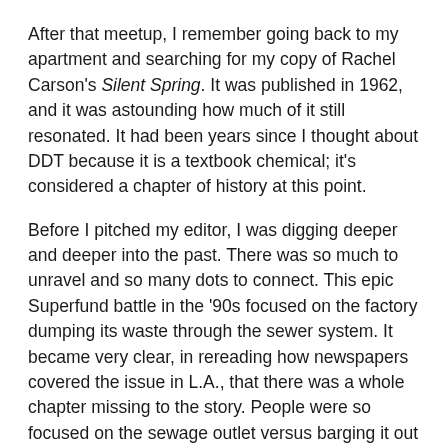After that meetup, I remember going back to my apartment and searching for my copy of Rachel Carson's Silent Spring. It was published in 1962, and it was astounding how much of it still resonated. It had been years since I thought about DDT because it is a textbook chemical; it's considered a chapter of history at this point.
Before I pitched my editor, I was digging deeper and deeper into the past. There was so much to unravel and so many dots to connect. This epic Superfund battle in the '90s focused on the factory dumping its waste through the sewer system. It became very clear, in rereading how newspapers covered the issue in L.A., that there was a whole chapter missing to the story. People were so focused on the sewage outlet versus barging it out and dumping it straight into the ocean.
What were the biggest reporting challenges?
I did not know what documents were out there. It became